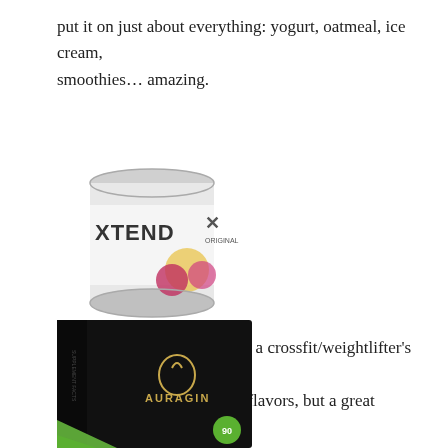put it on just about everything: yogurt, oatmeal, ice cream, smoothies… amazing.
[Figure (photo): XTEND Original BCAA powder supplement container, white/silver can with fruit imagery]
Scivation BCAA Powder >> a crossfit/weightlifter's best friend. Not a huge fan of the fruity flavors, but a great purchase if you're looking to gain muscle.
[Figure (photo): Auragin supplement box, black box with gold/green Auragin logo and branding]